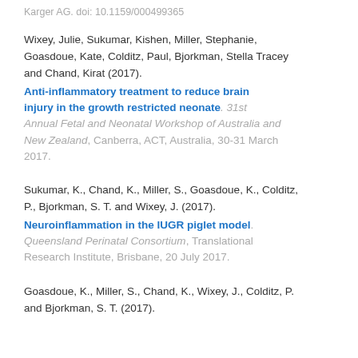Karger AG. doi: 10.1159/000499365
Wixey, Julie, Sukumar, Kishen, Miller, Stephanie, Goasdoue, Kate, Colditz, Paul, Bjorkman, Stella Tracey and Chand, Kirat (2017). Anti-inflammatory treatment to reduce brain injury in the growth restricted neonate. 31st Annual Fetal and Neonatal Workshop of Australia and New Zealand, Canberra, ACT, Australia, 30-31 March 2017.
Sukumar, K., Chand, K., Miller, S., Goasdoue, K., Colditz, P., Bjorkman, S. T. and Wixey, J. (2017). Neuroinflammation in the IUGR piglet model. Queensland Perinatal Consortium, Translational Research Institute, Brisbane, 20 July 2017.
Goasdoue, K., Miller, S., Chand, K., Wixey, J., Colditz, P. and Bjorkman, S. T. (2017).